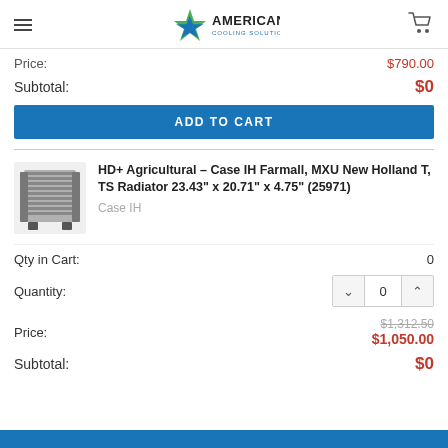American Cooling Solutions
Price: $790.00
Subtotal: $0
ADD TO CART
[Figure (photo): Photo of an agricultural radiator unit (Case IH Farmall, MXU New Holland T, TS Radiator)]
HD+ Agricultural – Case IH Farmall, MXU New Holland T, TS Radiator 23.43" x 20.71" x 4.75" (25971)
Case IH
Qty in Cart: 0
Quantity: 0
Price: $1,312.50 $1,050.00
Subtotal: $0